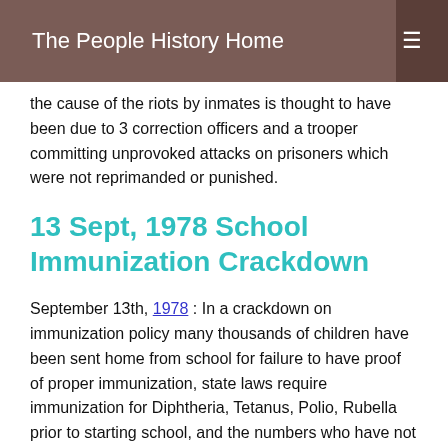The People History Home
the cause of the riots by inmates is thought to have been due to 3 correction officers and a trooper committing unprovoked attacks on prisoners which were not reprimanded or punished.
13 Sept, 1978 School Immunization Crackdown
September 13th, 1978 : In a crackdown on immunization policy many thousands of children have been sent home from school for failure to have proof of proper immunization, state laws require immunization for Diphtheria, Tetanus, Polio, Rubella prior to starting school, and the numbers who have not been immunized prior to starting school has been increasing each year.
13 Sept, 1978 Scotland Hercules Captured